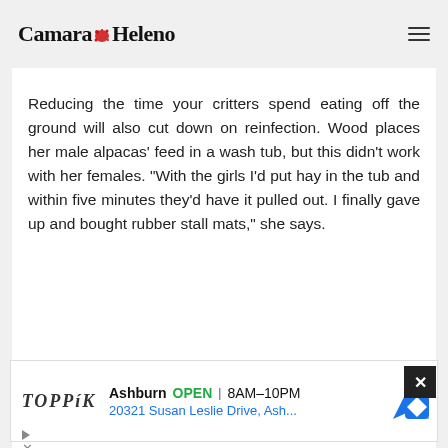Camara Heleno
Reducing the time your critters spend eating off the ground will also cut down on reinfection. Wood places her male alpacas’ feed in a wash tub, but this didn’t work with her females. “With the girls I’d put hay in the tub and within five minutes they’d have it pulled out. I finally gave up and bought rubber stall mats,” she says.
Supply your animals with a
[Figure (other): Advertisement banner for Toppik brand showing business location: Ashburn OPEN 8AM-10PM, 20321 Susan Leslie Drive, Ash... with a navigation/directions icon]